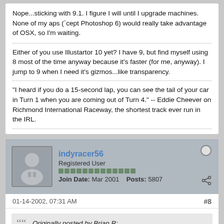Nope...sticking with 9.1. I figure I will until I upgrade machines. None of my aps (`cept Photoshop 6) would really take advantage of OSX, so I'm waiting.
Either of you use Illustartor 10 yet? I have 9, but find myself using 8 most of the time anyway because it's faster (for me, anyway). I jump to 9 when I need it's gizmos...like transparency.
"I heard if you do a 15-second lap, you can see the tail of your car in Turn 1 when you are coming out of Turn 4." -- Eddie Cheever on Richmond International Raceway, the shortest track ever run in the IRL.
indyracer56
Registered User
Join Date: Mar 2001  Posts: 5807
01-14-2002, 07:31 AM
#8
Originally posted by Brian R:
<STRONG>.....crash-free computing...very nice.</STRONG>